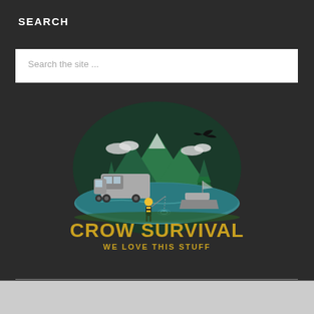SEARCH
Search the site ...
[Figure (logo): Crow Survival logo: illustrated scene with mountains, pine trees, RV camper, motorboat on water, person fishing, crow/bird silhouette, with text 'CROW SURVIVAL' and 'WE LOVE THIS STUFF']